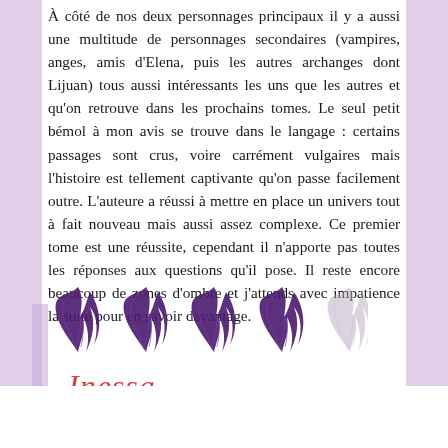À côté de nos deux personnages principaux il y a aussi une multitude de personnages secondaires (vampires, anges, amis d'Elena, puis les autres archanges dont Lijuan) tous aussi intéressants les uns que les autres et qu'on retrouve dans les prochains tomes. Le seul petit bémol à mon avis se trouve dans le langage : certains passages sont crus, voire carrément vulgaires mais l'histoire est tellement captivante qu'on passe facilement outre. L'auteure a réussi à mettre en place un univers tout à fait nouveau mais aussi assez complexe. Ce premier tome est une réussite, cependant il n'apporte pas toutes les réponses aux questions qu'il pose. Il reste encore beaucoup de zones d'ombre et j'attends avec impatience la suite pour en savoir davantage.
[Figure (illustration): Five decorative feather/flame icons used as a rating system: four filled in purple/dark and one faded/grey, indicating a rating of 4 out of 5.]
Inessa